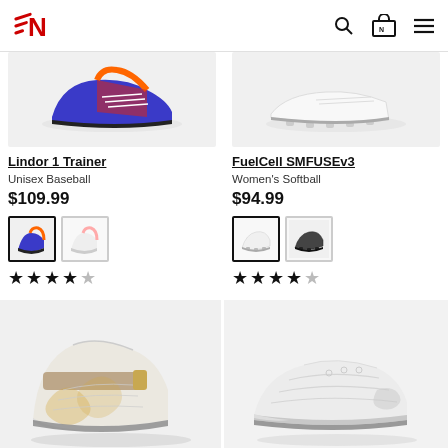New Balance - NB Logo, Search, Cart, Menu
[Figure (screenshot): Lindor 1 Trainer shoe product image - grey/light background]
Lindor 1 Trainer
Unisex Baseball
$109.99
[Figure (photo): Two color swatches for Lindor 1 Trainer: blue/orange colorway and white/pink colorway]
★★★★☆ (4 out of 5 stars)
[Figure (screenshot): FuelCell SMFUSEv3 shoe product image - grey/light background]
FuelCell SMFUSEv3
Women's Softball
$94.99
[Figure (photo): Two color swatches for FuelCell SMFUSEv3: white colorway and black/dark colorway]
★★★★☆ (4 out of 5 stars)
[Figure (photo): White/gold high-top baseball cleat shoe on light grey background]
[Figure (photo): White low-top athletic/trainer shoe on light grey background]